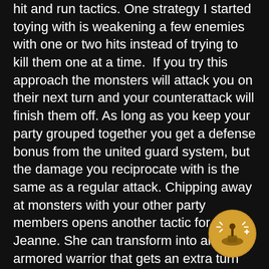hit and run tactics. One strategy I started toying with is weakening a few enemies with one or two hits instead of trying to kill them one at a time. If you try this approach the monsters will attack you on their next turn and your counterattack will finish them off. As long as you keep your party grouped together you get a defense bonus from the united guard system, but the damage you reciprocate with is the same as a regular attack. Chipping away at monsters with your other party members opens another tactic for Jeanne. She can transform into an armored warrior that gets an extra turn each time she kills an enemy. If you find yourself running low on turns this is a fast way to shift the tide back in your favor.
[Figure (illustration): A circular gold/amber badge icon depicting a game controller or joystick with stars/sparkles around it, representing a gaming achievement or tip indicator.]